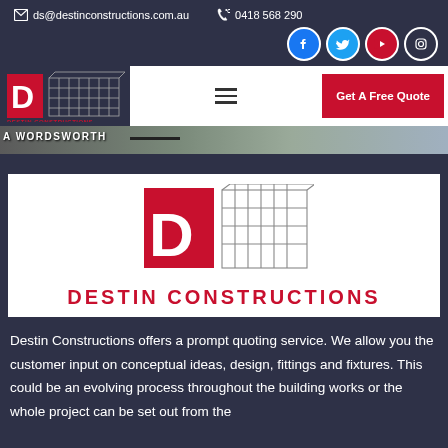ds@destinconstructions.com.au   0418 568 290
[Figure (logo): Destin Constructions logo with red D icon and building outline]
Get A Free Quote
[Figure (photo): Hero image with text A WORDSWORTH]
[Figure (logo): Destin Constructions large logo — red square D icon with building sketch and DESTIN CONSTRUCTIONS text]
Destin Constructions offers a prompt quoting service. We allow you the customer input on conceptual ideas, design, fittings and fixtures. This could be an evolving process throughout the building works or the whole project can be set out from the